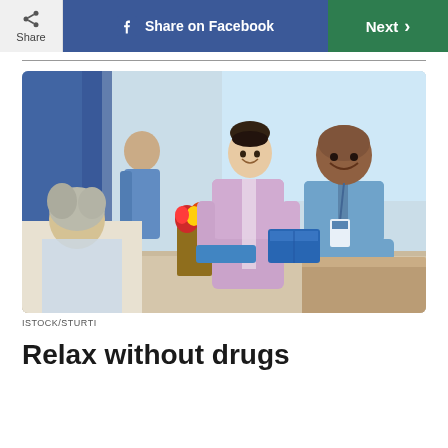Share | Share on Facebook | Next
[Figure (photo): Hospital scene showing a nurse in purple uniform and a male doctor in blue shirt smiling while attending to an elderly female patient in a hospital bed. A male staff member in blue scrubs is visible in the background.]
ISTOCK/STURTI
Relax without drugs